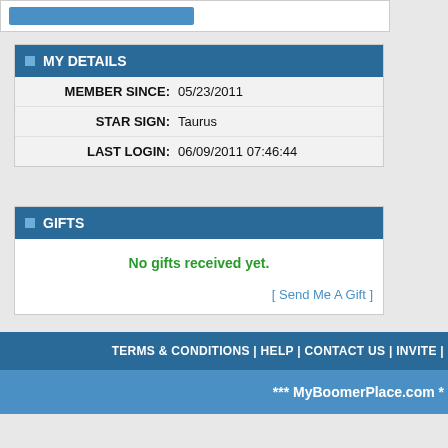[Figure (screenshot): Top partial section showing a blue progress bar or header strip]
MY DETAILS
| MEMBER SINCE: | 05/23/2011 |
| STAR SIGN: | Taurus |
| LAST LOGIN: | 06/09/2011 07:46:44 |
GIFTS
No gifts received yet.
[ Send Me A Gift ]
[ Report This User ]
TERMS & CONDITIONS | HELP | CONTACT US | INVITE |
*** MyBoomerPlace.com *